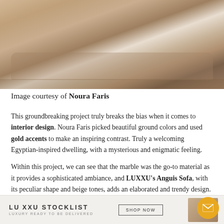[Figure (photo): Luxury interior living room with beige and gold tones, featuring sofas, marble surfaces, plants, and an Egyptian-inspired decor style. Photo of a high-end residential space designed by Noura Faris.]
Image courtesy of Noura Faris
This groundbreaking project truly breaks the bias when it comes to interior design. Noura Faris picked beautiful ground colors and used gold accents to make an inspiring contrast. Truly a welcoming Egyptian-inspired dwelling, with a mysterious and enigmatic feeling.
Within this project, we can see that the marble was the go-to material as it provides a sophisticated ambiance, and LUXXU's Anguis Sofa, with its peculiar shape and beige tones, adds an elaborated and trendy design. And all the other pieces by LUXXU you can see here, such as the soft Otto Sofa, the detailed McQueen II Wall Lamp, the sleek Darian II Side Table, and th
LUXXU STOCKLIST  LUXURY READY TO BE DELIVERED  SHOP NOW